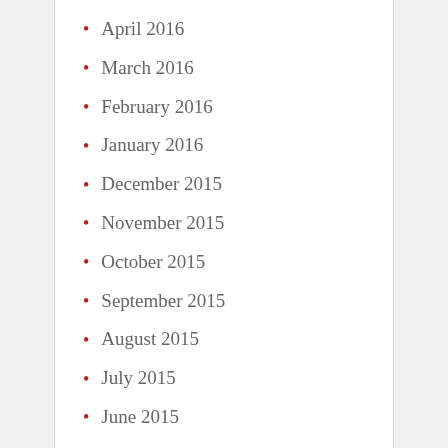April 2016
March 2016
February 2016
January 2016
December 2015
November 2015
October 2015
September 2015
August 2015
July 2015
June 2015
May 2015